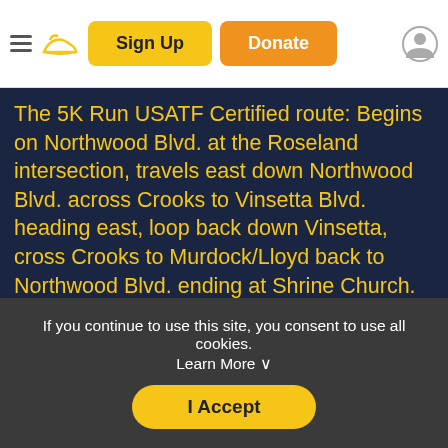Sign Up | Donate
The 5K Run USATF Certified route: Begins on Northwood Blvd. at the Roseland intersection, travels east down Northwood Blvd. across Crooks to Vinsetta Blvd. heading east, loop back down Vinsetta,  cross Crooks to Murdock/Lloyd back to Northwood Blvd. ending at Shrine Church.
The 1.5 Fun Run/Walk: Begins on Northwood Blvd. at the Roseland intersection, travels east down Northwood Blvd.  to the last turnaround before Crooks Road and heads back west on Northwood Blvd. ending at Shrine Church.
If you continue to use this site, you consent to use all cookies. Learn More ∨
I Accept